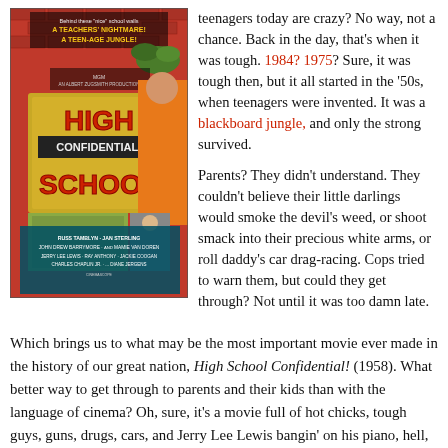[Figure (photo): Movie poster for 'High School Confidential!' showing brick wall background with MGM presents / An Albert Zugsmith Production, title text 'HIGH SCHOOL CONFIDENTIAL!' and cast credits including Russ Tamblyn, Jan Sterling, John Drew Barrymore, Mamie Van Doren, Jerry Lee Lewis, Ray Anthony, Jackie Coogan, Charles Chaplin Jr., Diane Jergens]
teenagers today are crazy? No way, not a chance. Back in the day, that's when it was tough. 1984? 1975? Sure, it was tough then, but it all started in the '50s, when teenagers were invented. It was a blackboard jungle, and only the strong survived.
Parents? They didn't understand. They couldn't believe their little darlings would smoke the devil's weed, or shoot smack into their precious white arms, or roll daddy's car drag-racing. Cops tried to warn them, but could they get through? Not until it was too damn late.
Which brings us to what may be the most important movie ever made in the history of our great nation, High School Confidential! (1958). What better way to get through to parents and their kids than with the language of cinema? Oh, sure, it's a movie full of hot chicks, tough guys, guns, drugs, cars, and Jerry Lee Lewis bangin' on his piano, hell, it's a big tickle from start to finish, but that's not